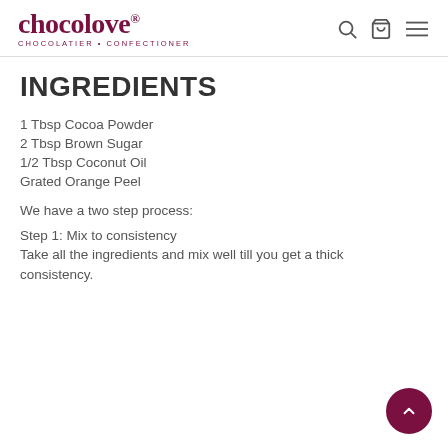chocolove® CHOCOLATIER • CONFECTIONER
INGREDIENTS
1 Tbsp Cocoa Powder
2 Tbsp Brown Sugar
1/2 Tbsp Coconut Oil
Grated Orange Peel
We have a two step process:
Step 1: Mix to consistency
Take all the ingredients and mix well till you get a thick consistency.